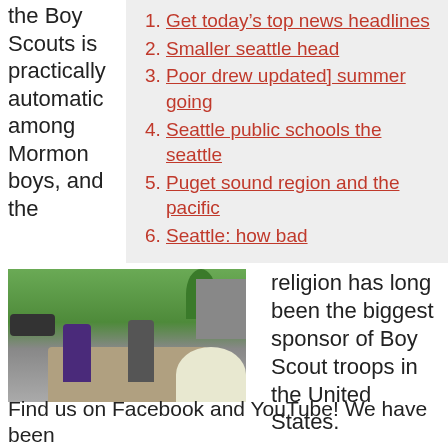the Boy Scouts is practically automatic among Mormon boys, and the
1. Get today’s top news headlines
2. Smaller seattle head
3. Poor drew updated] summer going
4. Seattle public schools the seattle
5. Puget sound region and the pacific
6. Seattle: how bad
[Figure (photo): Two people standing outside a building with flowers, cars and trees visible in background]
religion has long been the biggest sponsor of Boy Scout troops in the United States.
Find us on Facebook and YouTube! We have been